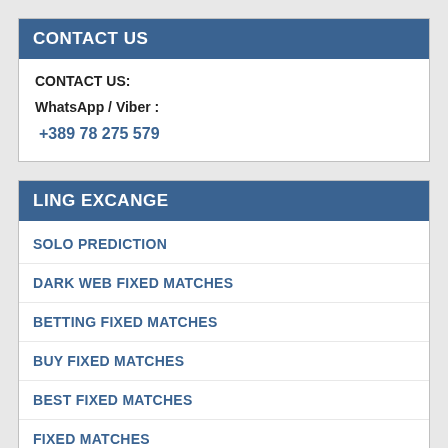CONTACT US
CONTACT US:

WhatsApp / Viber :

+389 78 275 579
LING EXCANGE
SOLO PREDICTION
DARK WEB FIXED MATCHES
BETTING FIXED MATCHES
BUY FIXED MATCHES
BEST FIXED MATCHES
FIXED MATCHES
RIGGED FIXED MATCHES
STATAREA PREDICTIONS